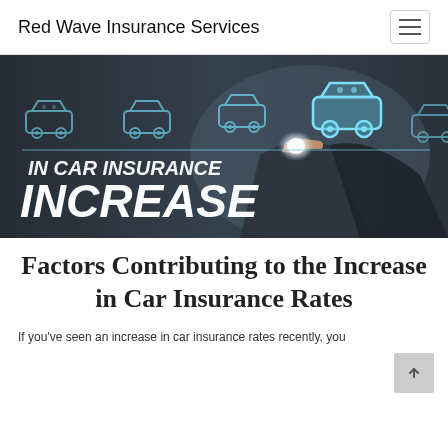Red Wave Insurance Services
[Figure (photo): Person pointing at glowing car icons on a digital screen with text overlay reading 'IN CAR INSURANCE INCREASE' in bold white italic letters on a dark background]
Factors Contributing to the Increase in Car Insurance Rates
If you've seen an increase in car insurance rates recently, you